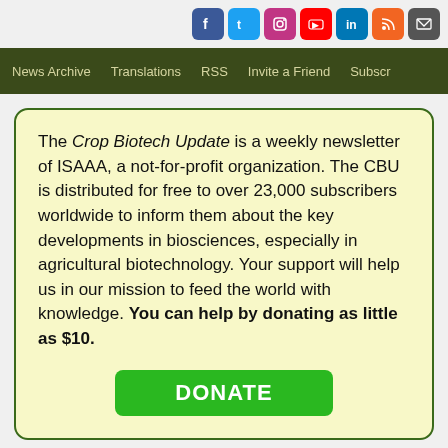Social media icons: Facebook, Twitter, Instagram, YouTube, LinkedIn, RSS, Email
News Archive  Translations  RSS  Invite a Friend  Subscr...
The Crop Biotech Update is a weekly newsletter of ISAAA, a not-for-profit organization. The CBU is distributed for free to over 23,000 subscribers worldwide to inform them about the key developments in biosciences, especially in agricultural biotechnology. Your support will help us in our mission to feed the world with knowledge. You can help by donating as little as $10.
DONATE